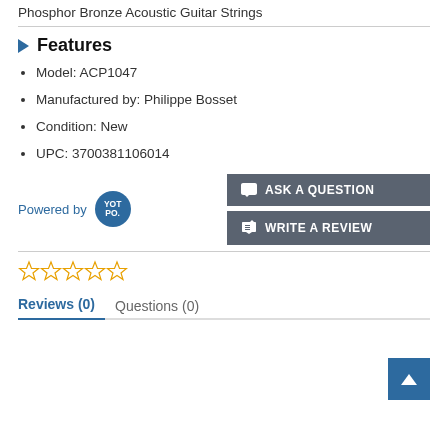Phosphor Bronze Acoustic Guitar Strings
Features
Model: ACP1047
Manufactured by: Philippe Bosset
Condition: New
UPC: 3700381106014
Powered by YOTPO | ASK A QUESTION | WRITE A REVIEW
[Figure (other): Five empty star rating icons in gold/yellow]
Reviews (0)   Questions (0)